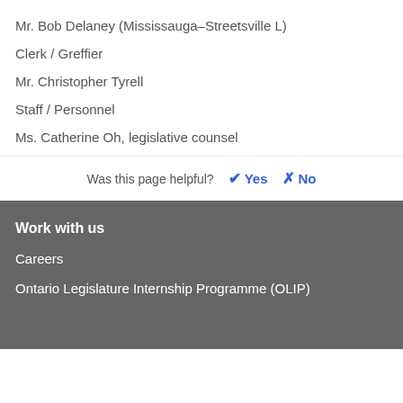Mr. Bob Delaney (Mississauga–Streetsville L)
Clerk / Greffier
Mr. Christopher Tyrell
Staff / Personnel
Ms. Catherine Oh, legislative counsel
Was this page helpful? ✔ Yes  ✖ No
Work with us
Careers
Ontario Legislature Internship Programme (OLIP)